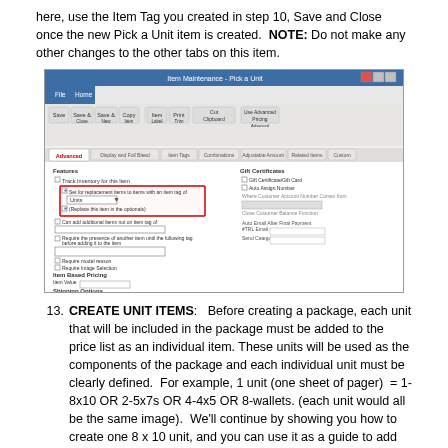here, use the Item Tag you created in step 10, Save and Close once the new Pick a Unit item is created.  NOTE: Do not make any other changes to the other tabs on this item.
[Figure (screenshot): Screenshot of a software application dialog (item configuration window) showing the Advanced tab selected, with options for replacement items, item tag set to 'Units', and various other settings. A red rectangle highlights the item tag and replacement item options.]
CREATE UNIT ITEMS:   Before creating a package, each unit that will be included in the package must be added to the price list as an individual item. These units will be used as the components of the package and each individual unit must be clearly defined.  For example, 1 unit (one sheet of pager)  = 1-8x10 OR 2-5x7s OR 4-4x5 OR 8-wallets. (each unit would all be the same image).  We'll continue by showing you how to create one 8 x 10 unit, and you can use it as a guide to add the rest of the units you'll be selling.